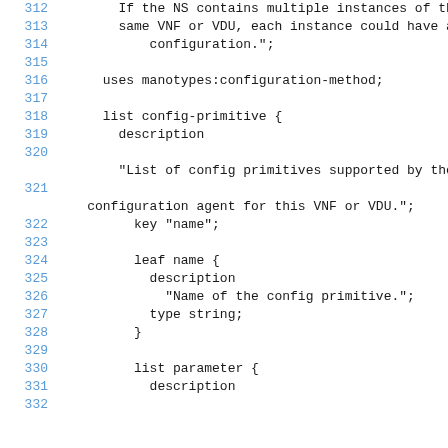312  If the NS contains multiple instances of the
313    same VNF or VDU, each instance could have a dif
314        configuration.";
315
316    uses manotypes:configuration-method;
317
318    list config-primitive {
319      description
320
           "List of config primitives supported by the
321
       configuration agent for this VNF or VDU.";
322      key "name";
323
324      leaf name {
325        description
326          "Name of the config primitive.";
327        type string;
328      }
329
330      list parameter {
331        description
332